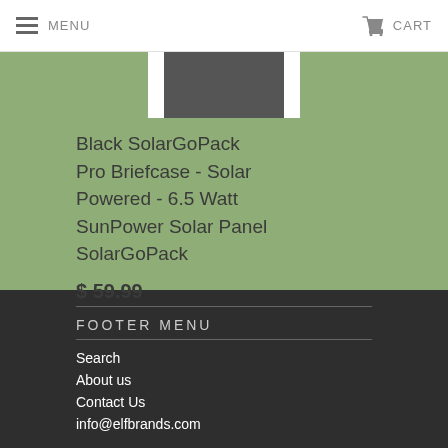MENU   CART
[Figure (photo): Product image of Black SolarGoPack Pro Briefcase shown partially, dark colored bag against white background]
Black SolarGoPack Pro Briefcase - Solar Powered - 6.5 Watt SunPower Solar Panel SolarGoPack
$ 59.99
FOOTER MENU
Search
About us
Contact Us
info@elfbrands.com